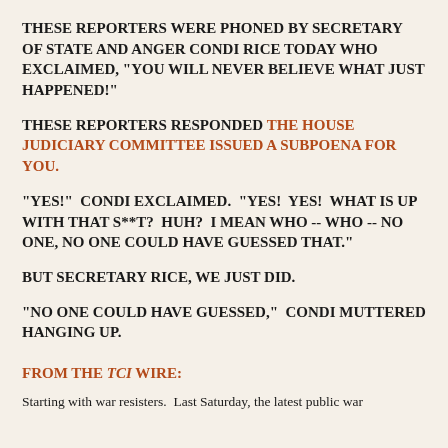THESE REPORTERS WERE PHONED BY SECRETARY OF STATE AND ANGER CONDI RICE TODAY WHO EXCLAIMED, "YOU WILL NEVER BELIEVE WHAT JUST HAPPENED!"
THESE REPORTERS RESPONDED THE HOUSE JUDICIARY COMMITTEE ISSUED A SUBPOENA FOR YOU.
"YES!"  CONDI EXCLAIMED.  "YES!  YES!  WHAT IS UP WITH THAT S**T?  HUH?  I MEAN WHO -- WHO -- NO ONE, NO ONE COULD HAVE GUESSED THAT."
BUT SECRETARY RICE, WE JUST DID.
"NO ONE COULD HAVE GUESSED,"  CONDI MUTTERED HANGING UP.
FROM THE TCI WIRE:
Starting with war resisters.  Last Saturday, the latest public war